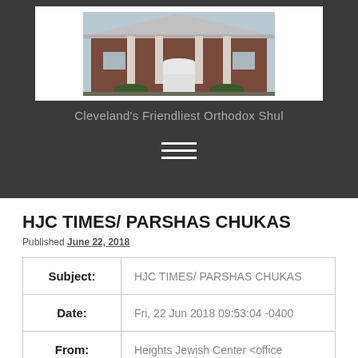[Figure (photo): Building photo of Heights Jewish Center, a brick synagogue with white Greek Revival pediment entrance, centered on white header bar]
Cleveland's Friendliest Orthodox Shul
HJC TIMES/ PARSHAS CHUKAS
Published June 22, 2018
| Field | Value |
| --- | --- |
| Subject: | HJC TIMES/ PARSHAS CHUKAS |
| Date: | Fri, 22 Jun 2018 09:53:04 -0400 |
| From: | Heights Jewish Center <office |